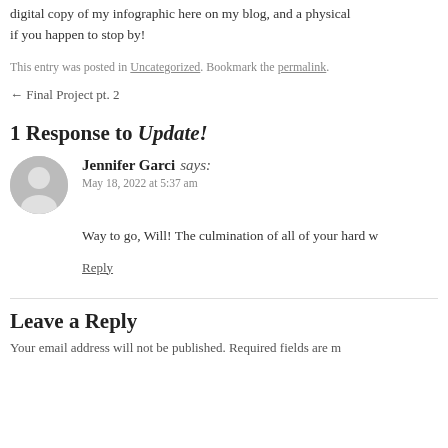digital copy of my infographic here on my blog, and a physical if you happen to stop by!
This entry was posted in Uncategorized. Bookmark the permalink.
← Final Project pt. 2
1 Response to Update!
Jennifer Garci says:
May 18, 2022 at 5:37 am
Way to go, Will! The culmination of all of your hard w
Reply
Leave a Reply
Your email address will not be published. Required fields are m